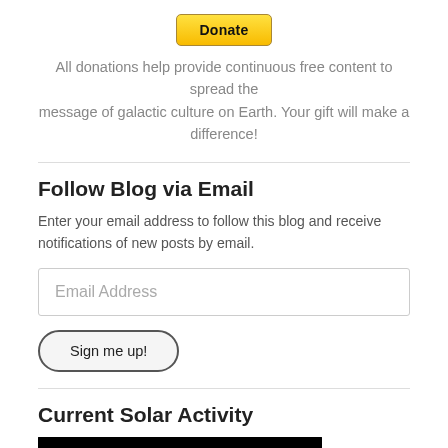[Figure (other): Donate button styled in yellow/gold PayPal style]
All donations help provide continuous free content to spread the message of galactic culture on Earth. Your gift will make a difference!
Follow Blog via Email
Enter your email address to follow this blog and receive notifications of new posts by email.
[Figure (other): Email Address input field]
[Figure (other): Sign me up! button]
Current Solar Activity
[Figure (photo): Solar activity image showing red solar flares against a black background]